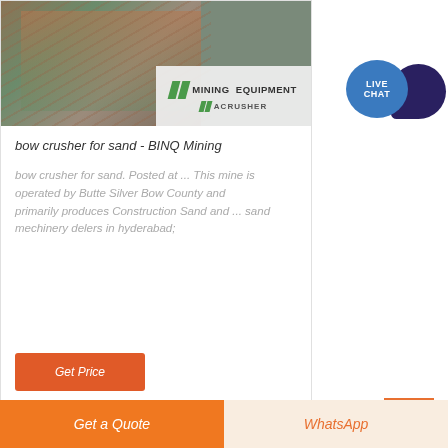[Figure (photo): Mining equipment / crusher machinery at an industrial site with conveyor structures. Overlaid with a white panel showing 'MINING EQUIPMENT ACRUSHER' logo with green diagonal slash marks.]
bow crusher for sand - BINQ Mining
bow crusher for sand. Posted at ... This mine is operated by Butte Silver Bow County and primarily produces Construction Sand and ... sand mechinery delers in hyderabad;
[Figure (other): Live Chat button - a teal circular speech bubble labeled 'LIVE CHAT' overlapping a dark navy speech bubble shape]
Get Price
Get a Quote
WhatsApp